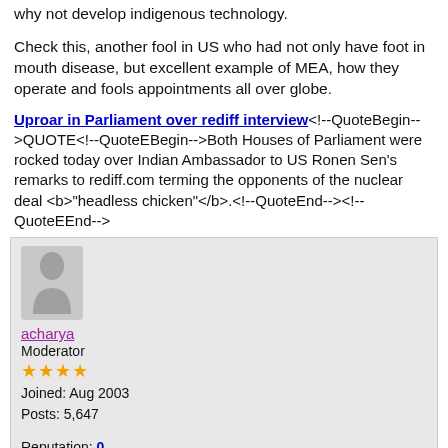why not develop indigenous technology.
Check this, another fool in US who had not only have foot in mouth disease, but excellent example of MEA, how they operate and fools appointments all over globe.
<b>Uproar in Parliament over rediff interview</b><!--QuoteBegin-->QUOTE<!--QuoteEBegin-->Both Houses of Parliament were rocked today over Indian Ambassador to US Ronen Sen's remarks to rediff.com terming the opponents of the nuclear deal <b>"headless chicken"</b>.<!--QuoteEnd--><!--QuoteEEnd-->
[Figure (other): User avatar silhouette placeholder image]
acharya
Moderator
★★★★
Joined: Aug 2003
Posts: 5,647

Reputation: 0
#189
08-21-2007, 08:50 PM
<b>Queasy BJP keeps sitting on the fence
-- Advani reveals party dilemma as he dubs Left ultimatum to